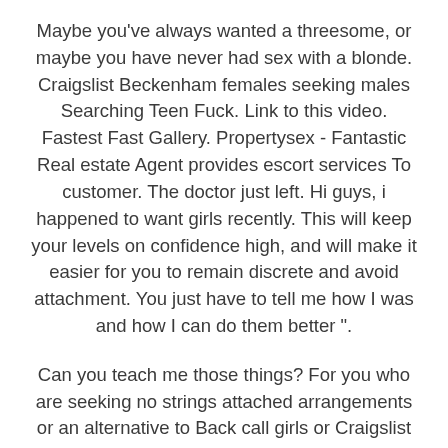Maybe you've always wanted a threesome, or maybe you have never had sex with a blonde. Craigslist Beckenham females seeking males Searching Teen Fuck. Link to this video. Fastest Fast Gallery. Propertysex - Fantastic Real estate Agent provides escort services To customer. The doctor just left. Hi guys, i happened to want girls recently. This will keep your levels on confidence high, and will make it easier for you to remain discrete and avoid attachment. You just have to tell me how I was and how I can do them better ".
Can you teach me those things? For you who are seeking no strings attached arrangements or an alternative to Back call girls or Craigslist personals, look